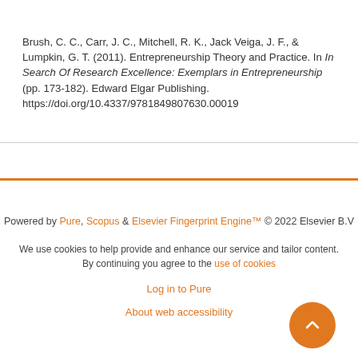Brush, C. C., Carr, J. C., Mitchell, R. K., Jack Veiga, J. F., & Lumpkin, G. T. (2011). Entrepreneurship Theory and Practice. In In Search Of Research Excellence: Exemplars in Entrepreneurship (pp. 173-182). Edward Elgar Publishing. https://doi.org/10.4337/9781849807630.00019
Powered by Pure, Scopus & Elsevier Fingerprint Engine™ © 2022 Elsevier B.V
We use cookies to help provide and enhance our service and tailor content. By continuing you agree to the use of cookies
Log in to Pure
About web accessibility